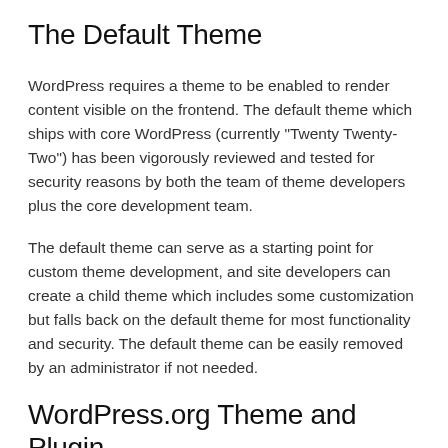The Default Theme
WordPress requires a theme to be enabled to render content visible on the frontend. The default theme which ships with core WordPress (currently "Twenty Twenty-Two") has been vigorously reviewed and tested for security reasons by both the team of theme developers plus the core development team.
The default theme can serve as a starting point for custom theme development, and site developers can create a child theme which includes some customization but falls back on the default theme for most functionality and security. The default theme can be easily removed by an administrator if not needed.
WordPress.org Theme and Plugin